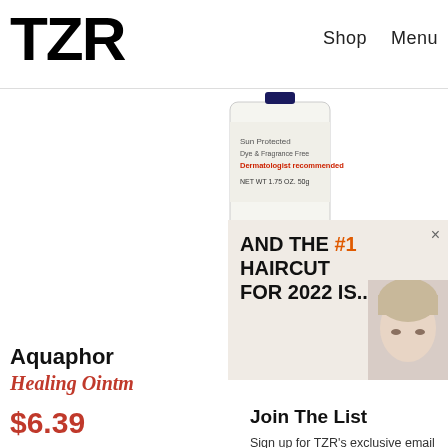TZR   Shop   Menu
[Figure (photo): Aquaphor Healing Ointment tube product photo - white and navy blue tube, text reads 'Sun Protected, Dye & Fragrance Free, Dermatologist recommended, NET WT 1.75 OZ. 50g']
[Figure (infographic): Popup advertisement overlay with light beige background showing text 'AND THE #1 HAIRCUT FOR 2022 IS...' with a blonde woman's face partially visible on the right side. An X close button in the corner.]
Aquaphor
Healing Ointm...
$6.39
Join The List
Sign up for TZR's exclusive email list to uncover this season's top trends
Right after your m... be careful with w... safe product to us...
Email address   Subscribe
See On Target